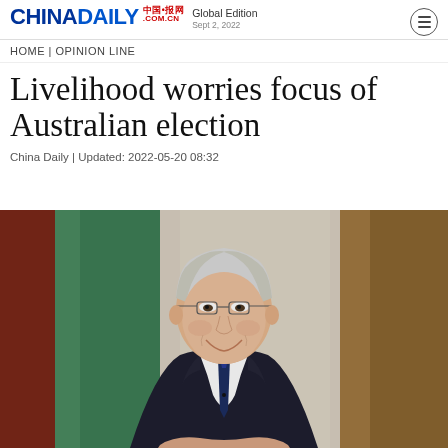CHINADAILY 中国日报网 .COM.CN | Global Edition | Sept 2, 2022
HOME | OPINION LINE
Livelihood worries focus of Australian election
China Daily | Updated: 2022-05-20 08:32
[Figure (photo): A man in a dark suit and navy tie, smiling, seated in front of a blurred background with red, green and white colors, presumably flags or banners.]